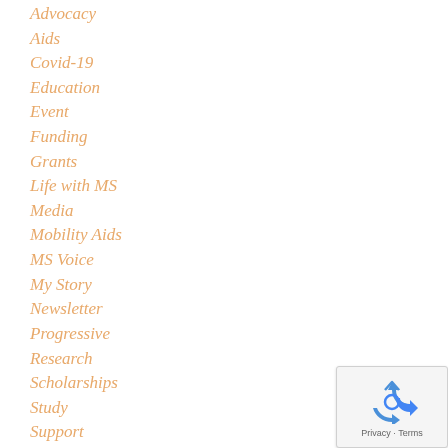Advocacy
Aids
Covid-19
Education
Event
Funding
Grants
Life with MS
Media
Mobility Aids
MS Voice
My Story
Newsletter
Progressive
Research
Scholarships
Study
Support
Training
[Figure (logo): reCAPTCHA badge with recycling-arrow icon and Privacy - Terms text]